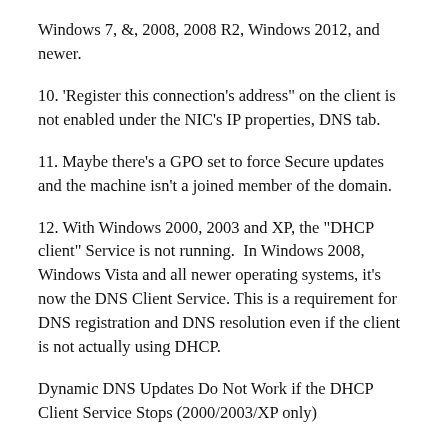Windows 7, &, 2008, 2008 R2, Windows 2012, and newer.
10. 'Register this connection's address" on the client is not enabled under the NIC's IP properties, DNS tab.
11. Maybe there's a GPO set to force Secure updates and the machine isn't a joined member of the domain.
12. With Windows 2000, 2003 and XP, the "DHCP client" Service is not running.  In Windows 2008, Windows Vista and all newer operating systems, it's now the DNS Client Service. This is a requirement for DNS registration and DNS resolution even if the client is not actually using DHCP.
Dynamic DNS Updates Do Not Work if the DHCP Client Service Stops (2000/2003/XP only)